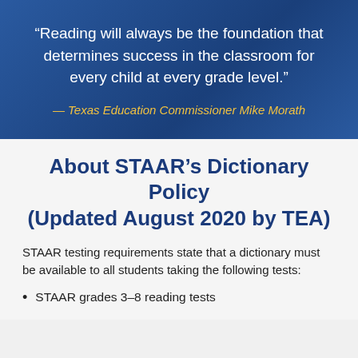“Reading will always be the foundation that determines success in the classroom for every child at every grade level.”
— Texas Education Commissioner Mike Morath
About STAAR’s Dictionary Policy (Updated August 2020 by TEA)
STAAR testing requirements state that a dictionary must be available to all students taking the following tests:
STAAR grades 3–8 reading tests